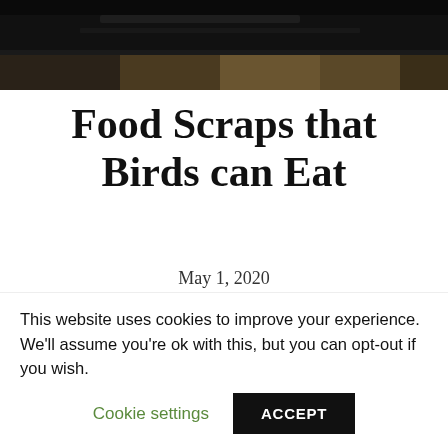[Figure (photo): Dark hero image showing a blurred kitchen or dining scene with dark tones at top and warm brown tones at bottom]
Food Scraps that Birds can Eat
May 1, 2020
Nectar, bird seed, suet aren't the only food options available that you can use to feed
This website uses cookies to improve your experience. We'll assume you're ok with this, but you can opt-out if you wish. Cookie settings ACCEPT